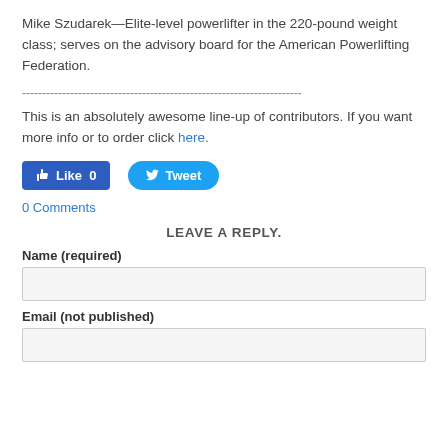Mike Szudarek—Elite-level powerlifter in the 220-pound weight class; serves on the advisory board for the American Powerlifting Federation.
----------------------------------------------------------------------
This is an absolutely awesome line-up of contributors. If you want more info or to order click here.
[Figure (infographic): Social media buttons: Facebook Like (0) button in blue rectangle, Twitter Tweet button in blue pill shape]
0 Comments
LEAVE A REPLY.
Name (required)
Email (not published)